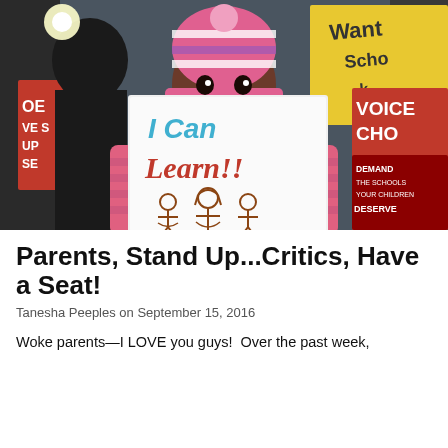[Figure (photo): A young child wearing a pink and white striped winter hat and pink jacket holds up a handmade sign that reads 'I Can Learn!!' with stick figure drawings. In the background are protest signs including 'Voice Cho' and 'Demand the Schools Your Children Deserve' on a red sign, and a yellow sign reading 'Want Scho'.]
Parents, Stand Up...Critics, Have a Seat!
Tanesha Peeples on September 15, 2016
Woke parents—I LOVE you guys!  Over the past week,